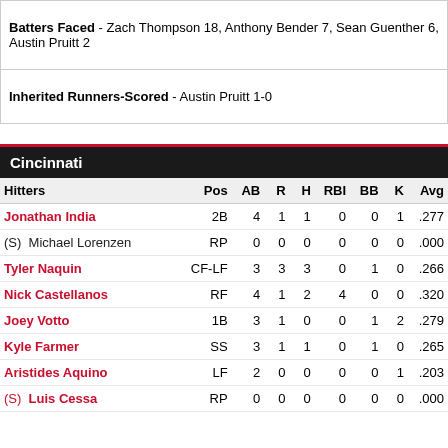Batters Faced - Zach Thompson 18, Anthony Bender 7, Sean Guenther 6, Austin Pruitt 2
Inherited Runners-Scored - Austin Pruitt 1-0
Cincinnati
| Hitters | Pos | AB | R | H | RBI | BB | K | Avg |
| --- | --- | --- | --- | --- | --- | --- | --- | --- |
| Jonathan India | 2B | 4 | 1 | 1 | 0 | 0 | 1 | .277 |
| (S)  Michael Lorenzen | RP | 0 | 0 | 0 | 0 | 0 | 0 | .000 |
| Tyler Naquin | CF-LF | 3 | 3 | 3 | 0 | 1 | 0 | .266 |
| Nick Castellanos | RF | 4 | 1 | 2 | 4 | 0 | 0 | .320 |
| Joey Votto | 1B | 3 | 1 | 0 | 0 | 1 | 2 | .279 |
| Kyle Farmer | SS | 3 | 1 | 1 | 0 | 1 | 0 | .265 |
| Aristides Aquino | LF | 2 | 0 | 0 | 0 | 0 | 1 | .203 |
| (S)  Luis Cessa | RP | 0 | 0 | 0 | 0 | 0 | 0 | .000 |